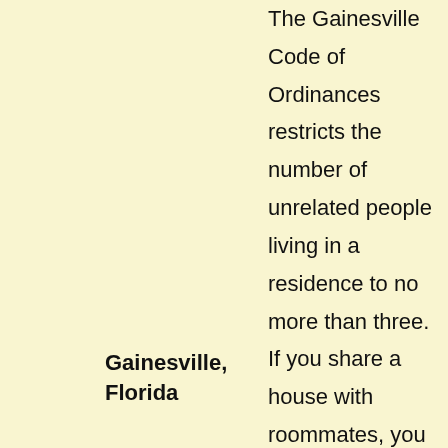The Gainesville Code of Ordinances restricts the number of unrelated people living in a residence to no more than three. If you share a house with roommates, you must restrict the number of occupants to three or seek appropriate
Gainesville, Florida